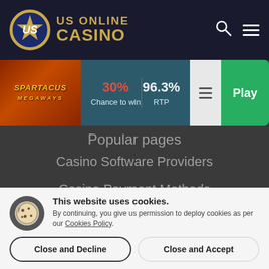[Figure (logo): US Online Casino logo with gold shield and text]
[Figure (screenshot): Spartacus Megaways game thumbnail with 30% Chance to win and 96.3% RTP stats, and a green Play button]
Popular pages
Casino Software Providers
Casino Payment Methods
Online Casino Game Shows
Online Blackjack
Online Poker
This website uses cookies. By continuing, you give us permission to deploy cookies as per our Cookies Policy.
Close and Decline
Close and Accept